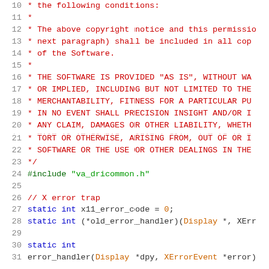Source code fragment showing C file with license comment and code lines 10-31
[Figure (screenshot): Code editor view showing lines 10-31 of a C source file with syntax highlighting. Lines 10-23 show a block comment with copyright/license text. Line 24 shows #include "va_dricommon.h". Lines 26-31 show C code for X error trap handling including static int x11_error_code = 0, static int (*old_error_handler)(Display *, XErr..., and error_handler(Display *dpy, XErrorEvent *error).]